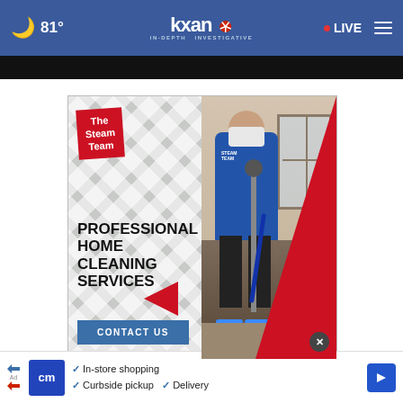81° | KXAN IN-DEPTH INVESTIGATIVE | • LIVE
[Figure (photo): The Steam Team advertisement: Professional Home Cleaning Services with a technician in PPE using cleaning equipment. Red logo badge, tiled diamond background, CONTACT US button.]
[Figure (infographic): Bottom banner ad with CM logo, checkmarks for In-store shopping, Curbside pickup, Delivery, and a blue arrow navigation icon.]